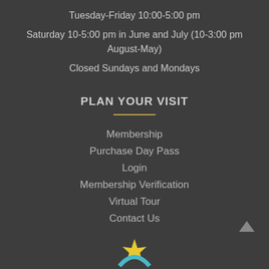Tuesday-Friday 10:00-5:00 pm
Saturday 10-5:00 pm in June and July (10-3:00 pm August-May)
Closed Sundays and Mondays
PLAN YOUR VISIT
Membership
Purchase Day Pass
Login
Membership Verification
Virtual Tour
Contact Us
[Figure (illustration): Partial logo illustration visible at bottom center of page]